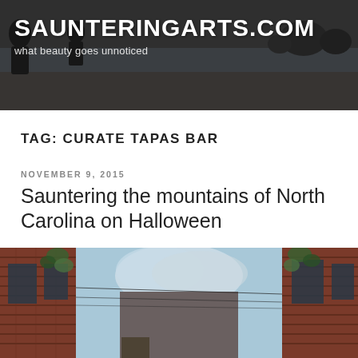SAUNTERINGARTS.COM
what beauty goes unnoticed
TAG: CURATE TAPAS BAR
NOVEMBER 9, 2015
Sauntering the mountains of North Carolina on Halloween
[Figure (photo): Street-level view looking up a narrow alley between two red brick buildings, with a painted mural of a sky with clouds visible on the wall in the background. Green ivy climbs the brick walls on both sides.]